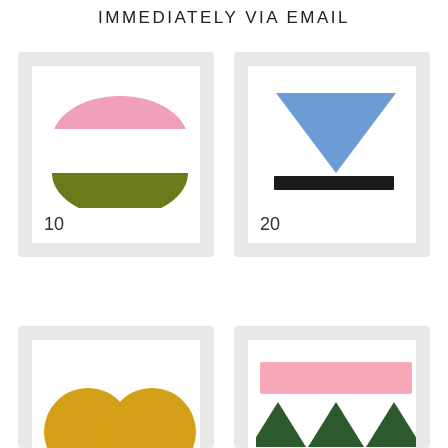IMMEDIATELY VIA EMAIL
[Figure (illustration): Card showing a pink upward semicircle on top and an olive/dark green upward semicircle on bottom, with number 10 below]
[Figure (illustration): Card showing a blue downward-pointing triangle above a thick black rectangle, with number 20 below]
[Figure (illustration): Card showing two yellow/gold circles side by side (partially cut off at bottom)]
[Figure (illustration): Card showing a pink horizontal rectangle with dark green triangles below it (partially cut off at bottom)]